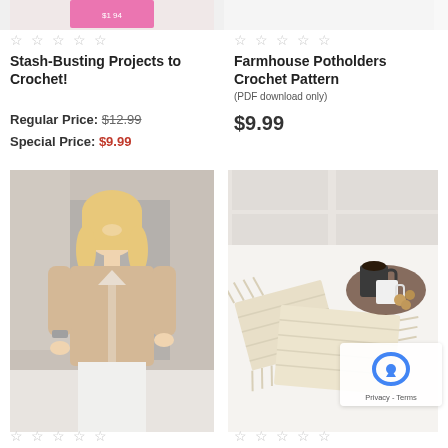[Figure (photo): Partial view of a book cover with pink background, top portion cut off]
[Figure (photo): Partial view of a product image on white background, top portion cut off]
☆ ☆ ☆ ☆ ☆
☆ ☆ ☆ ☆ ☆
Stash-Busting Projects to Crochet!
Farmhouse Potholders Crochet Pattern (PDF download only)
Regular Price: $12.99
Special Price: $9.99
$9.99
[Figure (photo): Woman wearing a beige crochet cardigan, smiling, standing against a light gray background]
[Figure (photo): Beige crochet potholders/placemats with fringe arranged on a white table with a coffee cup and tray]
☆ ☆ ☆ ☆ ☆
☆ ☆ ☆ ☆ ☆